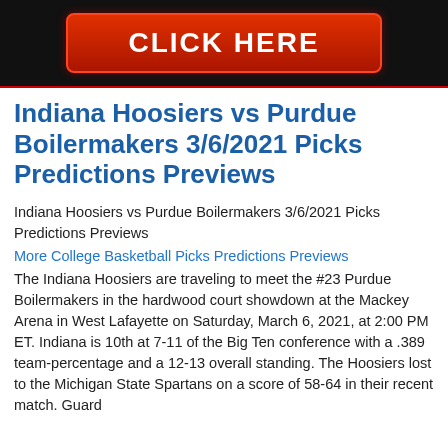[Figure (other): Black banner with a red gradient 'CLICK HERE' button]
Indiana Hoosiers vs Purdue Boilermakers 3/6/2021 Picks Predictions Previews
Indiana Hoosiers vs Purdue Boilermakers 3/6/2021 Picks Predictions Previews
More College Basketball Picks Predictions Previews
The Indiana Hoosiers are traveling to meet the #23 Purdue Boilermakers in the hardwood court showdown at the Mackey Arena in West Lafayette on Saturday, March 6, 2021, at 2:00 PM ET. Indiana is 10th at 7-11 of the Big Ten conference with a .389 team-percentage and a 12-13 overall standing. The Hoosiers lost to the Michigan State Spartans on a score of 58-64 in their recent match. Guard